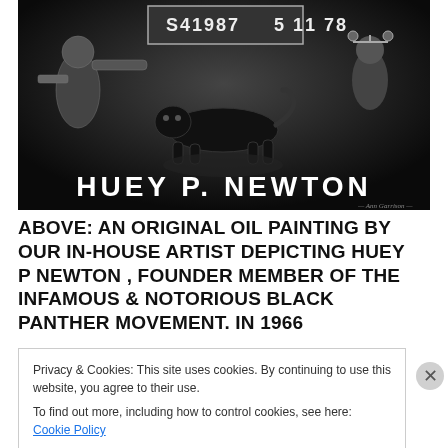[Figure (illustration): Black and white oil painting depicting Huey P. Newton. Shows a mugshot-style sign reading 'S41987  5 11 78', figures including a panther, and the text 'HUEY P. NEWTON' at the bottom. Dark, dramatic artwork.]
ABOVE: AN ORIGINAL OIL PAINTING BY OUR IN-HOUSE ARTIST DEPICTING HUEY P NEWTON , FOUNDER MEMBER OF THE INFAMOUS & NOTORIOUS BLACK PANTHER MOVEMENT. IN 1966
Privacy & Cookies: This site uses cookies. By continuing to use this website, you agree to their use.
To find out more, including how to control cookies, see here: Cookie Policy